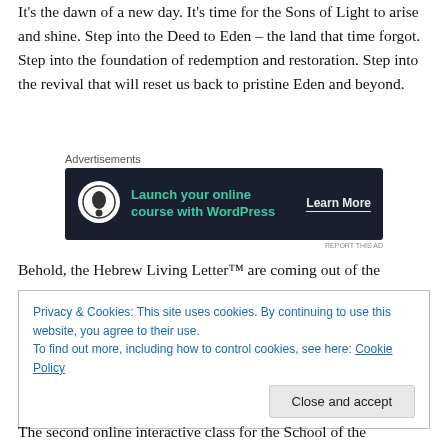It’s the dawn of a new day. It’s time for the Sons of Light to arise and shine. Step into the Deed to Eden – the land that time forgot. Step into the foundation of redemption and restoration. Step into the revival that will reset us back to pristine Eden and beyond.
[Figure (other): Advertisement banner with dark background showing 'Launch your online course with WordPress' with a circular logo on the left and 'Learn More' call to action on the right.]
Behold, the Hebrew Living Letter™ are coming out of the
Privacy & Cookies: This site uses cookies. By continuing to use this website, you agree to their use.
To find out more, including how to control cookies, see here: Cookie Policy
Close and accept
The second online interactive class for the School of the